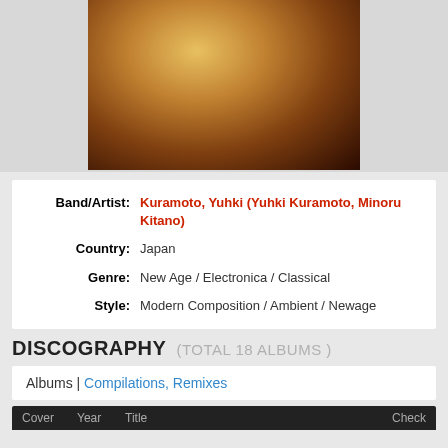[Figure (photo): Close-up photo of an older man with a white beard, lit with warm golden light, partial face visible]
| Band/Artist: | Kuramoto, Yuhki (Yuhki Kuramoto, Minoru Kitano) |
| Country: | Japan |
| Genre: | New Age  /  Electronica  /  Classical |
| Style: | Modern Composition  /  Ambient  /  Newage |
DISCOGRAPHY  (TOTAL 18 ALBUMS )
Albums | Compilations, Remixes
| Cover | Year | Title | Check |
| --- | --- | --- | --- |